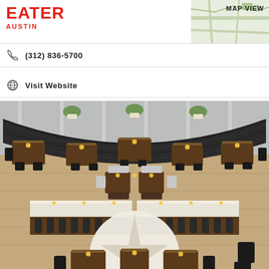EATER AUSTIN
(512) 836-5700
Visit Website
[Figure (photo): Aerial/overhead view of a modern restaurant interior featuring a curved banquette seating area along large windows, multiple wooden dining tables with black chairs, two long bar-height counters in the center, and a circular star design on the floor in the foreground. Sunflower centerpieces on tables. Wood plank flooring.]